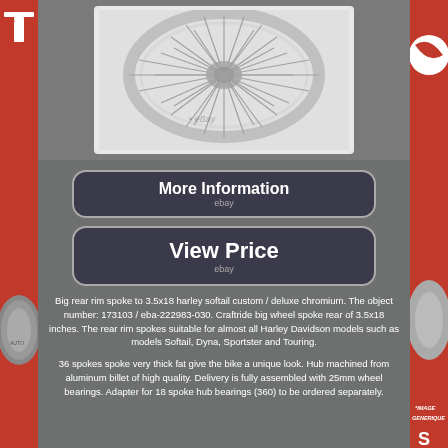[Figure (photo): Chrome spoke wheel for Harley Davidson, close-up product photo on light background with eBay watermark]
[Figure (other): More Information button with eBay branding, dark rounded rectangle]
[Figure (other): View Price button with eBay branding, dark rounded rectangle]
Big rear rim spoke to 3.5x18 harley softail custom / deluxe chromium. The object number: 173103 / eba-222983-030. Craftride big wheel spoke rear of 3.5x18 inches. The rear rim spokes suitable for almost all Harley Davidson models such as models Softail, Dyna, Sportster and Touring.
36 spokes spoke very thick fat give the bike a unique look. Hub machined from aluminum billet of high quality. Delivery is fully assembled with 25mm wheel bearings. Adapter for 18 spoke hub bearings (360) to be ordered separately.